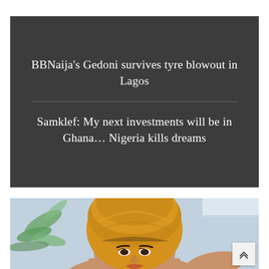BBNaija's Gedoni survives tyre blowout in Lagos
Samklef: My next investments will be in Ghana… Nigeria kills dreams
[Figure (photo): Close-up photo of a woman wearing a golden/mustard yellow head wrap (turban), with palm leaves visible in the background left, set against a light blue/grey wall background. A scroll-to-top button is visible in the bottom-right corner.]